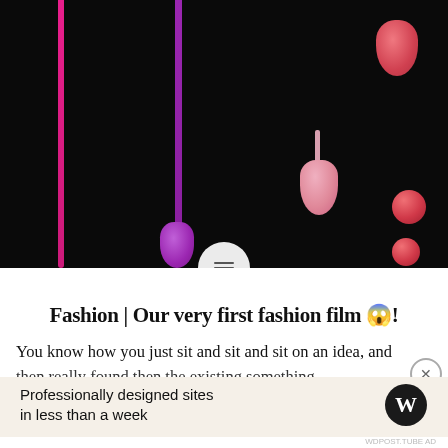[Figure (photo): Dark black background with colorful nail polish drips and drops: magenta drip on far left, purple drip in center-left forming a teardrop, pink teardrop drop in center, red/pink teardrop at top right, two red spheres on right side. A circular white play/menu button overlaps the bottom of the image.]
Fashion | Our very first fashion film 😱!
You know how you just sit and sit and sit on an idea, and then really found then the existing something
Advertisements
Professionally designed sites in less than a week